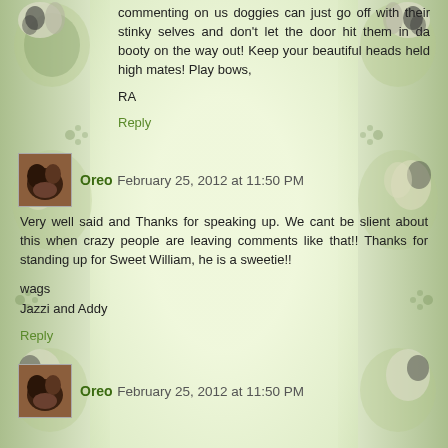commenting on us doggies can just go off with their stinky selves and don't let the door hit them in da booty on the way out! Keep your beautiful heads held high mates! Play bows,
RA
Reply
Oreo February 25, 2012 at 11:50 PM
Very well said and Thanks for speaking up. We cant be slient about this when crazy people are leaving comments like that!! Thanks for standing up for Sweet William, he is a sweetie!!
wags
Jazzi and Addy
Reply
Oreo February 25, 2012 at 11:50 PM